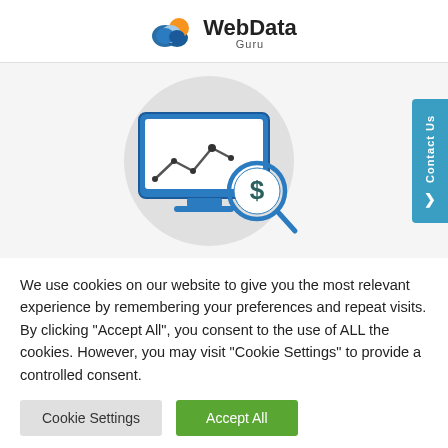[Figure (logo): WebData Guru logo with cloud icon (blue and orange) and bold text 'WebData' with 'Guru' subtitle]
[Figure (illustration): Light gray circle containing a blue monitor/screen icon with a line chart and a dollar sign magnifying glass icon]
We use cookies on our website to give you the most relevant experience by remembering your preferences and repeat visits. By clicking "Accept All", you consent to the use of ALL the cookies. However, you may visit "Cookie Settings" to provide a controlled consent.
Cookie Settings | Accept All